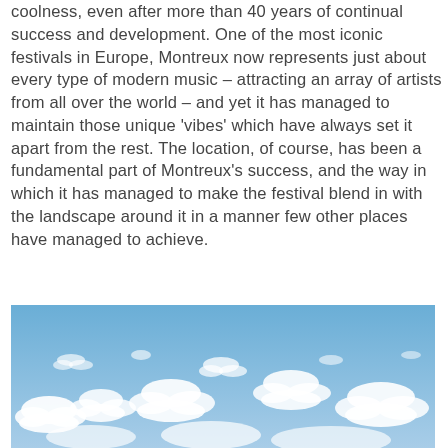coolness, even after more than 40 years of continual success and development. One of the most iconic festivals in Europe, Montreux now represents just about every type of modern music – attracting an array of artists from all over the world – and yet it has managed to maintain those unique 'vibes' which have always set it apart from the rest. The location, of course, has been a fundamental part of Montreux's success, and the way in which it has managed to make the festival blend in with the landscape around it in a manner few other places have managed to achieve.
[Figure (photo): Photograph of a blue sky with scattered white clouds, cropped at the bottom of the page.]